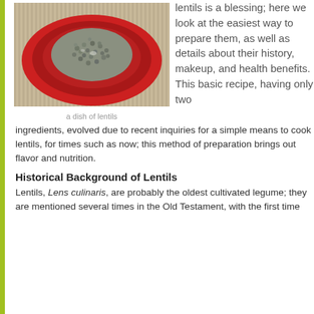[Figure (photo): A red bowl/plate filled with cooked lentils, viewed from above, on a textured beige background.]
a dish of lentils
lentils is a blessing; here we look at the easiest way to prepare them, as well as details about their history, makeup, and health benefits.  This basic recipe, having only two ingredients, evolved due to recent inquiries for a simple means to cook lentils, for times such as now; this method of preparation brings out flavor and nutrition.
Historical Background of Lentils
Lentils, Lens culinaris, are probably the oldest cultivated legume; they are mentioned several times in the Old Testament, with the first time